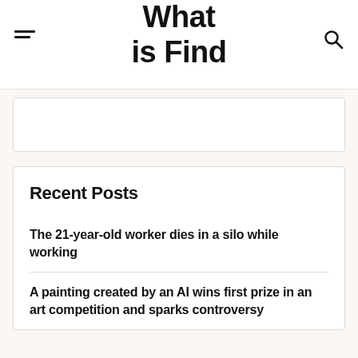What is Find
[Figure (other): Empty white advertisement/banner box]
Recent Posts
The 21-year-old worker dies in a silo while working
A painting created by an AI wins first prize in an art competition and sparks controversy